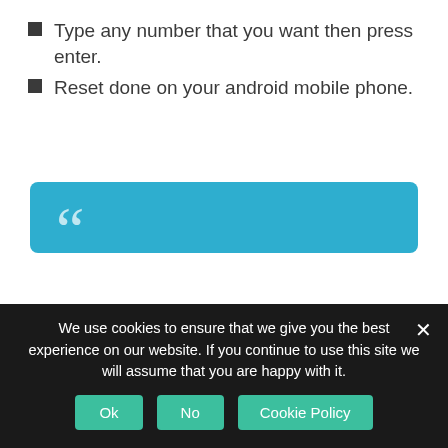Type any number that you want then press enter.
Reset done on your android mobile phone.
DISCLAIMER: This Reset information is intended for experienced users. It is not intended for basic users, hackers, or mobile thieves. Please do not try any of following resetting methods if you are not familiar with android mobile...
We use cookies to ensure that we give you the best experience on our website. If you continue to use this site we will assume that you are happy with it.